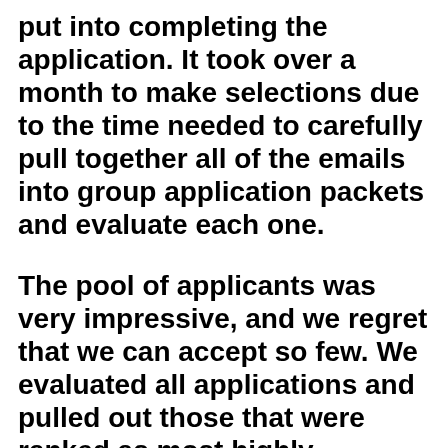put into completing the application. It took over a month to make selections due to the time needed to carefully pull together all of the emails into group application packets and evaluate each one.
The pool of applicants was very impressive, and we regret that we can accept so few. We evaluated all applications and pulled out those that were ranked as most highly qualified. From that pool